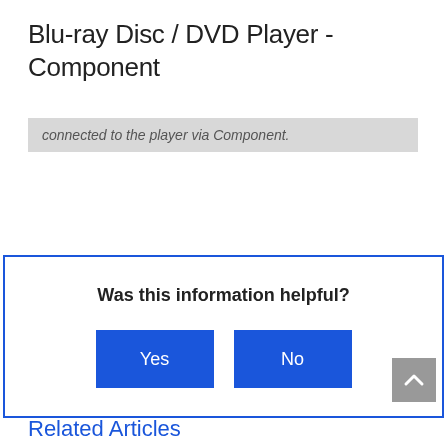Blu-ray Disc / DVD Player - Component
connected to the player via Component.
Was this information helpful?
Related Articles